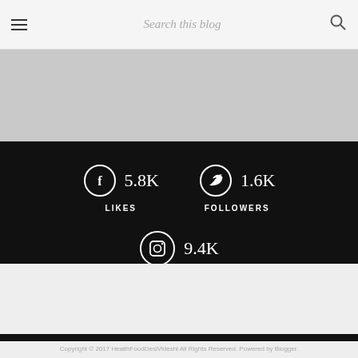Search this blog
[Figure (infographic): Gray advertisement placeholder area]
[Figure (infographic): Social media stats section on dark background: Facebook 5.8K Likes, Twitter 1.6K Followers, Instagram 9.4K Followers]
Copyright © 2017 HealthFoodDesiVideshi All Rights Reserved. Powered by Blogger.